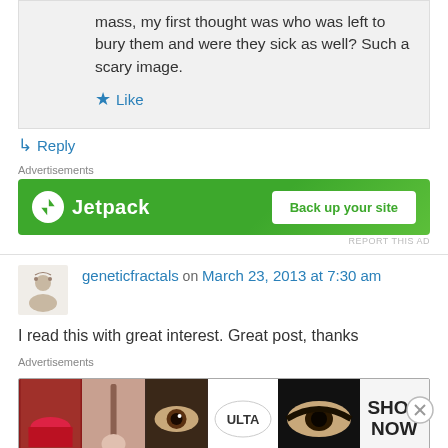mass, my first thought was who was left to bury them and were they sick as well? Such a scary image.
Like
Reply
Advertisements
[Figure (screenshot): Jetpack advertisement banner with green background, Jetpack logo and 'Back up your site' button]
REPORT THIS AD
geneticfractals on March 23, 2013 at 7:30 am
I read this with great interest. Great post, thanks
Advertisements
[Figure (screenshot): ULTA beauty advertisement with makeup images and SHOP NOW button]